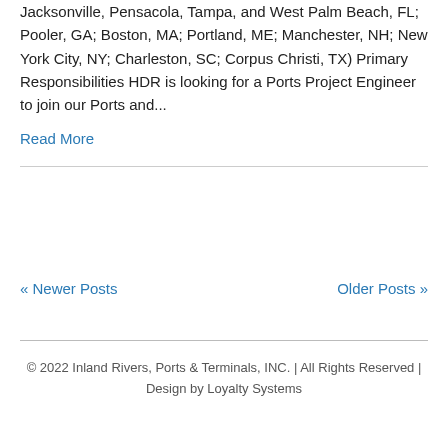Jacksonville, Pensacola, Tampa, and West Palm Beach, FL; Pooler, GA; Boston, MA; Portland, ME; Manchester, NH; New York City, NY; Charleston, SC; Corpus Christi, TX) Primary Responsibilities HDR is looking for a Ports Project Engineer to join our Ports and...
Read More
« Newer Posts
Older Posts »
© 2022 Inland Rivers, Ports & Terminals, INC. | All Rights Reserved | Design by Loyalty Systems